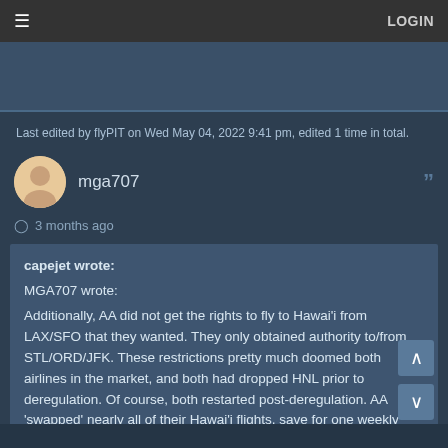LOGIN
[Figure (photo): Partial image strip at top of forum page]
Last edited by flyPIT on Wed May 04, 2022 9:41 pm, edited 1 time in total.
mga707
3 months ago
capejet wrote:
MGA707 wrote:
Additionally, AA did not get the rights to fly to Hawai'i from LAX/SFO that they wanted. They only obtained authority to/from STL/ORD/JFK. These restrictions pretty much doomed both airlines in the market, and both had dropped HNL prior to deregulation. Of course, both restarted post-deregulation. AA 'swapped' nearly all of their Hawai'i flights, save for one weekly STL-HNL run, and all of their South Pacific authority, to Pan Am for additional Caribbean routes in the mid-'70s.
The entire Transpacific case is fascinating. It began in the mid-'60s, and President Johnson had signed off on the final awards